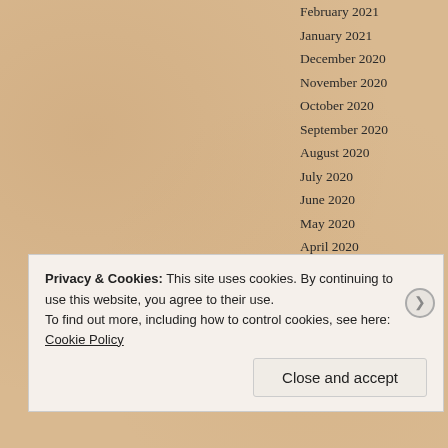February 2021
January 2021
December 2020
November 2020
October 2020
September 2020
August 2020
July 2020
June 2020
May 2020
April 2020
March 2020
February 2020
Privacy & Cookies: This site uses cookies. By continuing to use this website, you agree to their use.
To find out more, including how to control cookies, see here: Cookie Policy
Close and accept